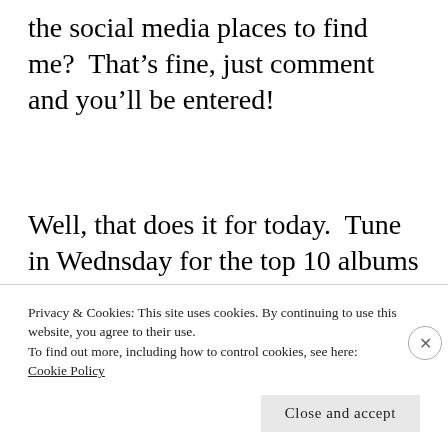the social media places to find me?  That’s fine, just comment and you’ll be entered!
Well, that does it for today.  Tune in Wednsday for the top 10 albums that haunt my dreams and me scream when I write and on Friday night, author Tim Lebbon
Privacy & Cookies: This site uses cookies. By continuing to use this website, you agree to their use.
To find out more, including how to control cookies, see here: Cookie Policy
Close and accept